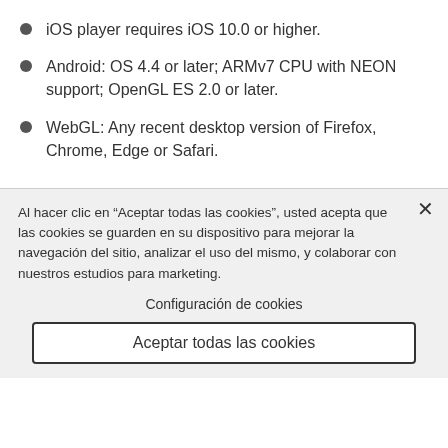iOS player requires iOS 10.0 or higher.
Android: OS 4.4 or later; ARMv7 CPU with NEON support; OpenGL ES 2.0 or later.
WebGL: Any recent desktop version of Firefox, Chrome, Edge or Safari.
Al hacer clic en “Aceptar todas las cookies”, usted acepta que las cookies se guarden en su dispositivo para mejorar la navegación del sitio, analizar el uso del mismo, y colaborar con nuestros estudios para marketing.
Configuración de cookies
Aceptar todas las cookies